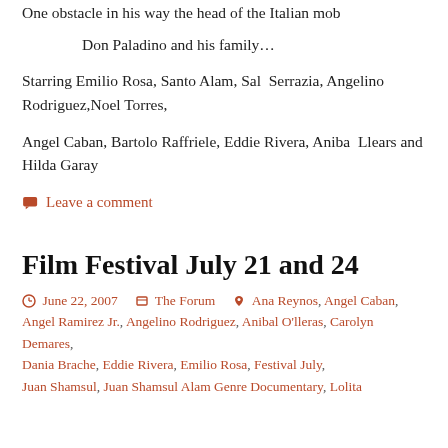One obstacle in his way the head of the Italian mob
Don Paladino and his family…
Starring Emilio Rosa, Santo Alam, Sal  Serrazia, Angelino Rodriguez,Noel Torres,
Angel Caban, Bartolo Raffriele, Eddie Rivera, Aniba  Llears and Hilda Garay
Leave a comment
Film Festival July 21 and 24
June 22, 2007   The Forum   Ana Reynos, Angel Caban, Angel Ramirez Jr., Angelino Rodriguez, Anibal O'lleras, Carolyn Demares, Dania Brache, Eddie Rivera, Emilio Rosa, Festival July, Juan Shamsul, Juan Shamsul Alam Genre Documentary, Lolita